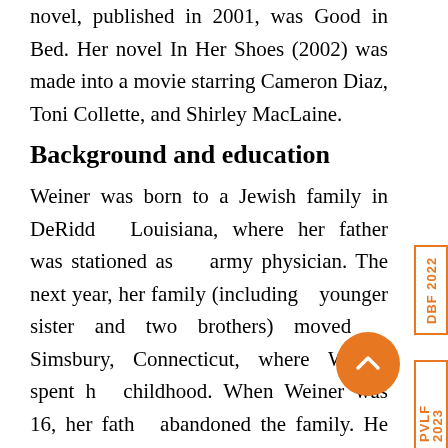novel, published in 2001, was Good in Bed. Her novel In Her Shoes (2002) was made into a movie starring Cameron Diaz, Toni Collette, and Shirley MacLaine.
Background and education
Weiner was born to a Jewish family in DeRidder, Louisiana, where her father was stationed as an army physician. The next year, her family (including a younger sister and two brothers) moved to Simsbury, Connecticut, where Weiner spent her childhood. When Weiner was 16, her father abandoned the family. He died of a crack cocaine overdose in 2008. Her first novel, Good in Bed, is loosely based on her young-adult life: like the main character, Cannie Shapiro, Weiner's parents divorced when she was 16, and her mother came out as a